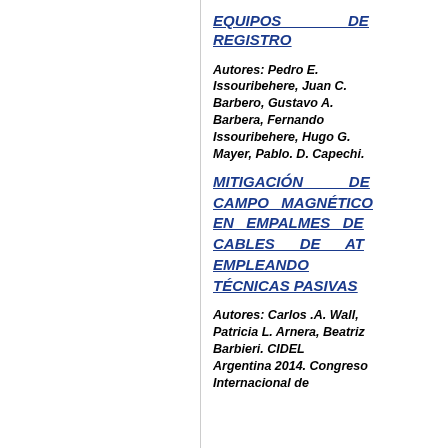EQUIPOS DE REGISTRO
Autores: Pedro E. Issouribehere, Juan C. Barbero, Gustavo A. Barbera, Fernando Issouribehere, Hugo G. Mayer, Pablo. D. Capechi.
MITIGACIÓN DE CAMPO MAGNÉTICO EN EMPALMES DE CABLES DE AT EMPLEANDO TÉCNICAS PASIVAS
Autores: Carlos .A. Wall, Patricia L. Arnera, Beatriz Barbieri. CIDEL Argentina 2014. Congreso Internacional de